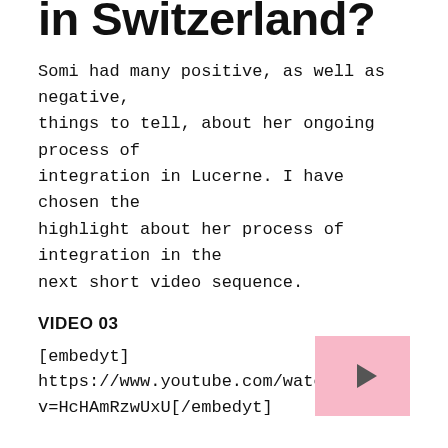Ways to integrate in Switzerland?
Somi had many positive, as well as negative, things to tell, about her ongoing process of integration in Lucerne. I have chosen the highlight about her process of integration in the next short video sequence.
VIDEO 03
[embedyt] https://www.youtube.com/watch?v=HcHAmRzwUxU[/embedyt]
If I get NEGATIVE I am doomed
During our conversation, I've noticed that Somi